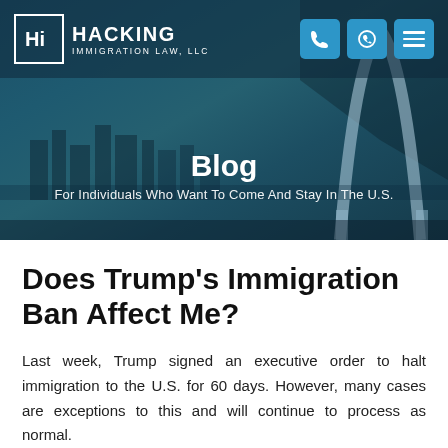[Figure (screenshot): Hacking Immigration Law, LLC website header with logo, navigation icons (phone, WhatsApp, menu), and hero banner showing city skyline with the Gateway Arch]
Blog
For Individuals Who Want To Come And Stay In The U.S.
Does Trump's Immigration Ban Affect Me?
Last week, Trump signed an executive order to halt immigration to the U.S. for 60 days. However, many cases are exceptions to this and will continue to process as normal.